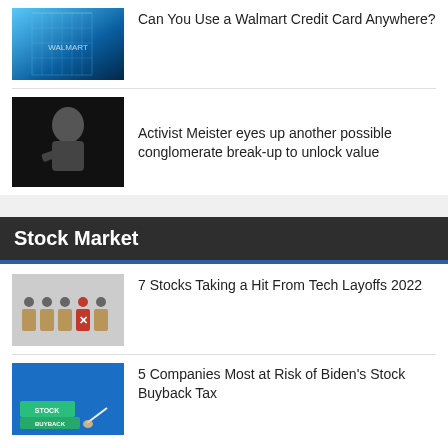[Figure (photo): Blue-toned photo of a financial building exterior with glass facade]
Can You Use a Walmart Credit Card Anywhere?
[Figure (photo): Black and white photo of a bald man in a suit, speaking at an event — activist investor]
Activist Meister eyes up another possible conglomerate break-up to unlock value
Stock Market
[Figure (photo): Photo of wooden blocks with figures, one marked with a red X, representing layoffs]
7 Stocks Taking a Hit From Tech Layoffs 2022
[Figure (photo): Photo of a hand writing near labels reading STOCK BUYBACK on blue background]
5 Companies Most at Risk of Biden's Stock Buyback Tax